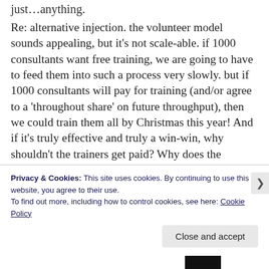just…anything.
Re: alternative injection. the volunteer model sounds appealing, but it's not scale-able. if 1000 consultants want free training, we are going to have to feed them into such a process very slowly. but if 1000 consultants will pay for training (and/or agree to a 'throughout share' on future throughput), then we could train them all by Christmas this year! And if it's truly effective and truly a win-win, why shouldn't the trainers get paid? Why does the receiver of the knowledge expect it for free, and expect to profit from it, while the giver goes unpaid?
Privacy & Cookies: This site uses cookies. By continuing to use this website, you agree to their use.
To find out more, including how to control cookies, see here: Cookie Policy
Close and accept